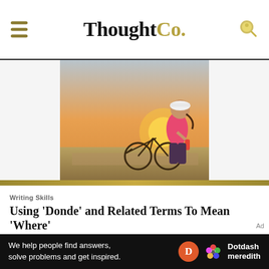ThoughtCo.
[Figure (photo): Woman in pink athletic shirt and white visor cap standing next to a bicycle, holding a water bottle, with a warm sunset background.]
Writing Skills
Using ‘Donde’ and Related Terms To Mean ‘Where’
[Figure (photo): Partially visible image below the article title, mostly light gray/sky.]
We help people find answers, solve problems and get inspired.
[Figure (logo): Dotdash Meredith logo — orange circle with D, colorful dots, and Dotdash meredith text]